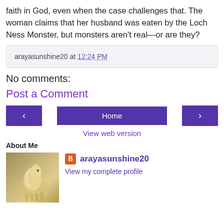faith in God, even when the case challenges that. The woman claims that her husband was eaten by the Loch Ness Monster, but monsters aren't real—or are they?
arayasunshine20 at 12:24 PM
No comments:
Post a Comment
[Figure (other): Navigation buttons: left arrow, Home, right arrow]
View web version
About Me
[Figure (photo): Unicorn illustration — profile avatar for arayasunshine20]
arayasunshine20
View my complete profile